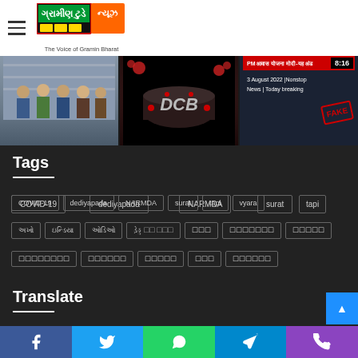[Figure (screenshot): Website header with hamburger menu and Gramin Today news logo with tagline 'The Voice of Gramin Bharat']
[Figure (photo): Three thumbnail images: group photo, DCB anniversary cake, breaking news screenshot]
Tags
COVID-19
dediyapada
NARMDA
surat
tapi
vyara
અખો
ઇન્ડિયા
ઓડિઓ
ડેડ્ડ ☐ ☐☐☐ ☐☐☐
☐☐☐
☐☐☐☐☐☐☐
☐☐☐☐☐
☐☐☐☐☐☐☐☐
☐☐☐☐☐☐
☐☐☐☐☐
☐☐☐
☐☐☐☐☐☐
Translate
[Figure (screenshot): Bottom social sharing bar with Facebook, Twitter, WhatsApp, Telegram, Phone icons]